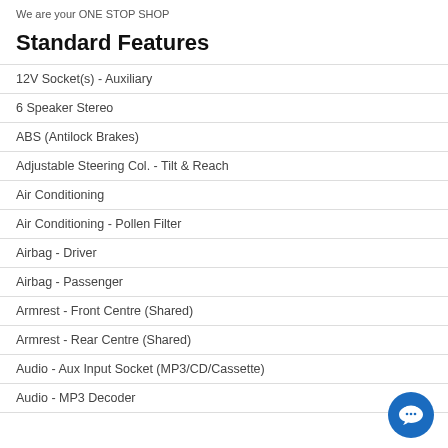We are your ONE STOP SHOP
Standard Features
12V Socket(s) - Auxiliary
6 Speaker Stereo
ABS (Antilock Brakes)
Adjustable Steering Col. - Tilt & Reach
Air Conditioning
Air Conditioning - Pollen Filter
Airbag - Driver
Airbag - Passenger
Armrest - Front Centre (Shared)
Armrest - Rear Centre (Shared)
Audio - Aux Input Socket (MP3/CD/Cassette)
Audio - MP3 Decoder
[Figure (illustration): Blue circular chat/support button icon in the bottom-right corner]